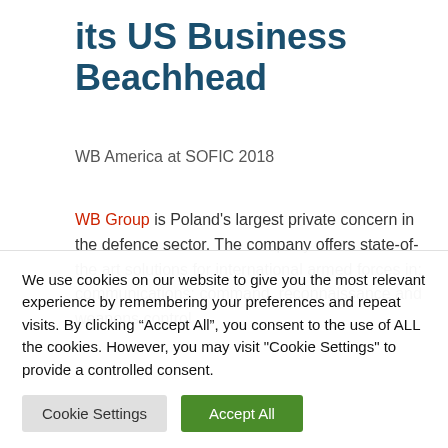its US Business Beachhead
WB America at SOFIC 2018
WB Group is Poland's largest private concern in the defence sector. The company offers state-of-the art solutions for international armed forces in: communications; command, reconnaissance and weapons control
We use cookies on our website to give you the most relevant experience by remembering your preferences and repeat visits. By clicking “Accept All”, you consent to the use of ALL the cookies. However, you may visit "Cookie Settings" to provide a controlled consent.